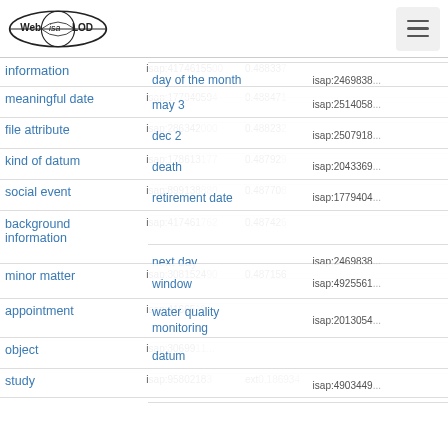Web isa LOD [menu icon]
| term | id | score | related |
| --- | --- | --- | --- |
| information | isap:4174615... | 0.488337 | reply / isap:1974280... |
|  |  |  | day of the month / isap:2469838... |
| meaningful date | isap:1779405... | 0.488471 | may 3 / isap:2514058... |
| file attribute | isap:2863420... | 0.488232 | dec 2 / isap:2507918... |
| kind of datum | isap:1786131... | 0.487929 | death / isap:2043369... |
| social event | isap:8991388... | 0.487708 | retirement date / isap:1779404... |
| background information | isap:4174617... | 0.487426 | next day / isap:2469838... |
| minor matter | isap:3081524... | 0.487156 | window / isap:4925561... |
| appointment | isap:4166519... |  | water quality monitoring / isap:2013054... |
| object | isap:3069911... |  | datum |
| study | isap:9580218... | 0.486934 | ext... / isap:4903449... |